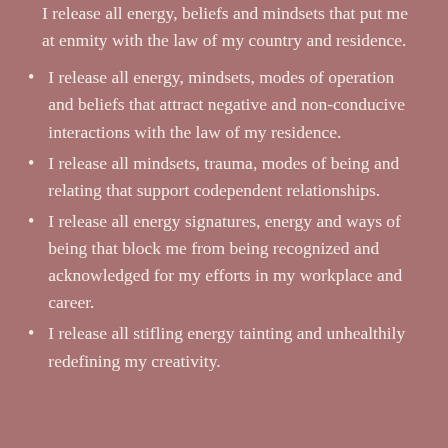I release all energy, beliefs and mindsets that put me at enmity with the law of my country and residence.
I release all energy, mindsets, modes of operation and beliefs that attract negative and non-conducive interactions with the law of my residence.
I release all mindsets, trauma, modes of being and relating that support codependent relationships.
I release all energy signatures, energy and ways of being that block me from being recognized and acknowledged for my efforts in my workplace and career.
I release all stifling energy tainting and unhealthily redefining my creativity.